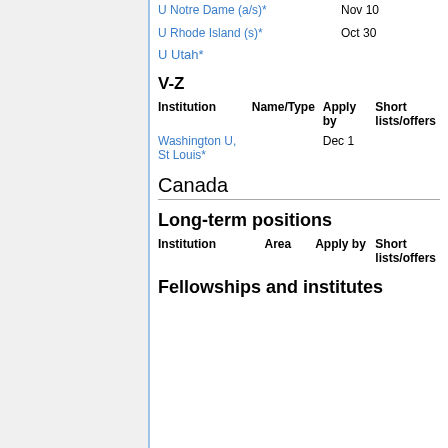U Notre Dame (a/s)*   Nov 10
U Rhode Island (s)*   Oct 30
U Utah*
V-Z
| Institution | Name/Type | Apply by | Short lists/offers |
| --- | --- | --- | --- |
| Washington U, St Louis* |  | Dec 1 |  |
Canada
Long-term positions
| Institution | Area | Apply by | Short lists/offers |
| --- | --- | --- | --- |
Fellowships and institutes